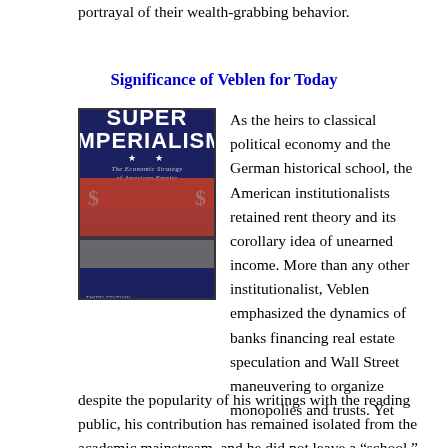portrayal of their wealth-grabbing behavior.
Significance of Veblen for Today
[Figure (photo): Book cover of 'Super Imperialism: The Economic Strategy of American Empire' Third Edition 2021 by Michael Hudson. Cover shows bold white text on dark blue background with red horizontal stripe bands and dollar sign imagery.]
As the heirs to classical political economy and the German historical school, the American institutionalists retained rent theory and its corollary idea of unearned income. More than any other institutionalist, Veblen emphasized the dynamics of banks financing real estate speculation and Wall Street maneuvering to organize monopolies and trusts. Yet despite the popularity of his writings with the reading public, his contribution has remained isolated from the academic mainstream, and he did not leave a “school.” The rentier strategy has been to make rent extraction invisible, not the center of attention it occupied in classical political economy. One barely sees today a quantification of the